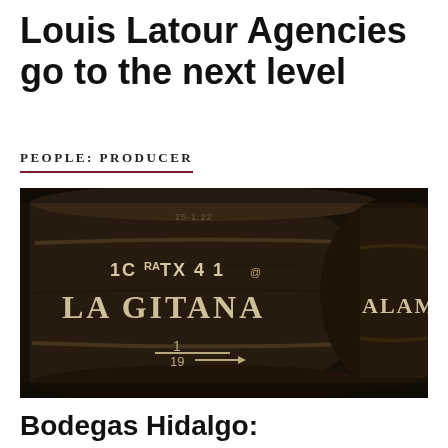Louis Latour Agencies go to the next level
PEOPLE: PRODUCER
[Figure (photo): Dark wine barrels in a cellar, one labeled 'LA GITANA' and another partially visible labeled 'ALAME', with markings '1C TX 4 1' and '1/19' with an arrow on the foreground barrel]
Bodegas Hidalgo: